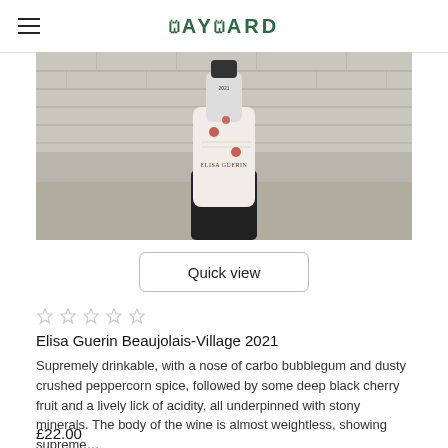WAYWARD
[Figure (photo): Photo of a wine bottle (Elisa Guerin) leaning against a concrete wall with a brick background. The bottle has a white label with floral/botanical illustration and red flower accents. The bottle has a dark base.]
Quick view
★★★★★ (empty stars)
Elisa Guerin Beaujolais-Village 2021
Supremely drinkable, with a nose of carbo bubblegum and dusty crushed peppercorn spice, followed by some deep black cherry fruit and a lively lick of acidity, all underpinned with stony minerals. The body of the wine is almost weightless, showing supreme…
£22.00